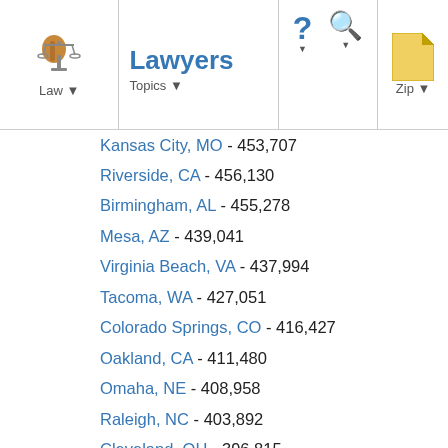Lawyers — Law | Topics | ? | Search | Zip
Kansas City, MO - 453,707
Riverside, CA - 456,130
Birmingham, AL - 455,278
Mesa, AZ - 439,041
Virginia Beach, VA - 437,994
Tacoma, WA - 427,051
Colorado Springs, CO - 416,427
Oakland, CA - 411,480
Omaha, NE - 408,958
Raleigh, NC - 403,892
Cleveland, OH - 396,815
Bakersfield, CA - 393,778
Honolulu, HI - 390,738
Chandler, AZ - 388,838
Minneapolis, MN - 382,578
Wichita, KS - 382,368